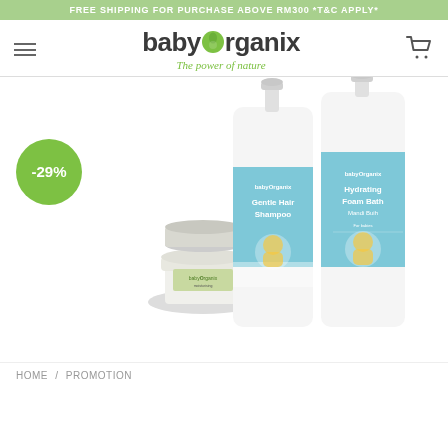FREE SHIPPING FOR PURCHASE ABOVE RM300 *T&C APPLY*
[Figure (logo): babyOrganix logo with green leaf/lime in the letter O and italic tagline 'The power of nature']
[Figure (photo): Baby Organix product set: Gentle Hair Shampoo pump bottle, Hydrating Foam Bath pump bottle, and a small cream jar with lid open]
-29%
HOME / PROMOTION